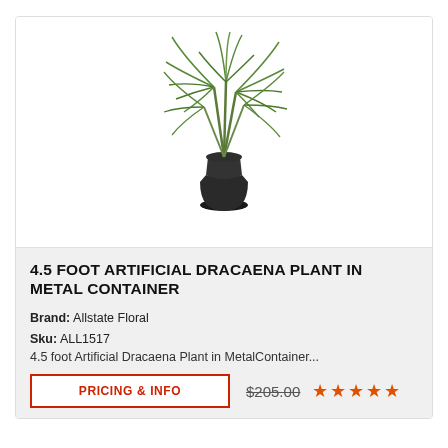[Figure (photo): Photo of a 4.5 foot artificial Dracaena plant with green fronds in a dark black textured metal container pot]
4.5 FOOT ARTIFICIAL DRACAENA PLANT IN METAL CONTAINER
Brand: Allstate Floral
Sku: ALL1517
4.5 foot Artificial Dracaena Plant in MetalContainer...
PRICING & INFO
$205.00
[Figure (other): 5 orange/red star rating icons]